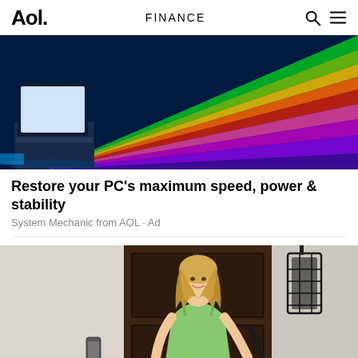Aol. | FINANCE
[Figure (photo): Laptop computer on a dark blue surface with colorful neon light streaks (green, orange, red, pink, purple) emanating from the screen against a dark blue background.]
Restore your PC's maximum speed, power & stability
System Mechanic from AOL · Ad
[Figure (photo): A smiling blonde woman in a light green dress standing at a doorway with a large dark wooden door and an ornate black metal lantern. A video doorbell is visible on the white wall to the left.]